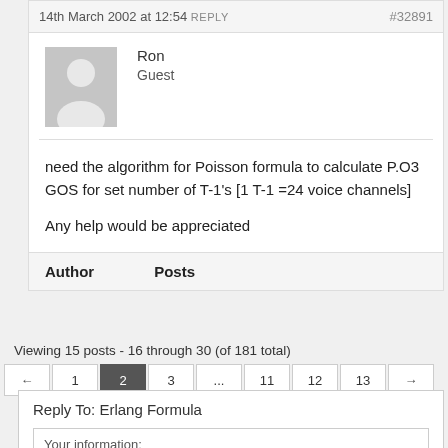14th March 2002 at 12:54 REPLY  #32891
Ron
Guest
need the algorithm for Poisson formula to calculate P.O3 GOS for set number of T-1's [1 T-1 =24 voice channels]

Any help would be appreciated
Author    Posts
Viewing 15 posts - 16 through 30 (of 181 total)
← 1 2 3 ... 11 12 13 →
Reply To: Erlang Formula
Your information:
Name (required):